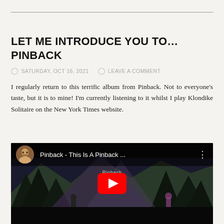LET ME INTRODUCE YOU TO… PINBACK
SATURDAY, OCT 16, 2021   LEAVE A COMMENT
I regularly return to this terrific album from Pinback. Not to everyone's taste, but it is to mine! I'm currently listening to it whilst I play Klondike Solitaire on the New York Times website.
[Figure (screenshot): YouTube video thumbnail for 'Pinback - This Is A Pinback ...' showing a dark forest/mountain scene with figures and a YouTube play button overlay.]